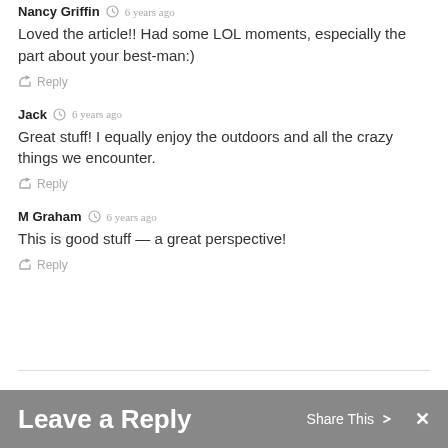Nancy Griffin  6 years ago
Loved the article!! Had some LOL moments, especially the part about your best-man:)
Reply
Jack  6 years ago
Great stuff! I equally enjoy the outdoors and all the crazy things we encounter.
Reply
M Graham  6 years ago
This is good stuff — a great perspective!
Reply
Leave a Reply
Share This